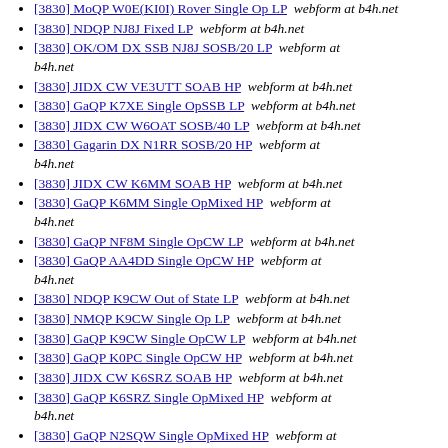[3830] MoQP W0E(KI0I) Rover Single Op LP  webform at b4h.net
[3830] NDQP NJ8J Fixed LP  webform at b4h.net
[3830] OK/OM DX SSB NJ8J SOSB/20 LP  webform at b4h.net
[3830] JIDX CW VE3UTT SOAB HP  webform at b4h.net
[3830] GaQP K7XE Single OpSSB LP  webform at b4h.net
[3830] JIDX CW W6OAT SOSB/40 LP  webform at b4h.net
[3830] Gagarin DX N1RR SOSB/20 HP  webform at b4h.net
[3830] JIDX CW K6MM SOAB HP  webform at b4h.net
[3830] GaQP K6MM Single OpMixed HP  webform at b4h.net
[3830] GaQP NF8M Single OpCW LP  webform at b4h.net
[3830] GaQP AA4DD Single OpCW HP  webform at b4h.net
[3830] NDQP K9CW Out of State LP  webform at b4h.net
[3830] NMQP K9CW Single Op LP  webform at b4h.net
[3830] GaQP K9CW Single OpCW LP  webform at b4h.net
[3830] GaQP K0PC Single OpCW HP  webform at b4h.net
[3830] JIDX CW K6SRZ SOAB HP  webform at b4h.net
[3830] GaQP K6SRZ Single OpMixed HP  webform at b4h.net
[3830] GaQP N2SQW Single OpMixed HP  webform at b4h.net